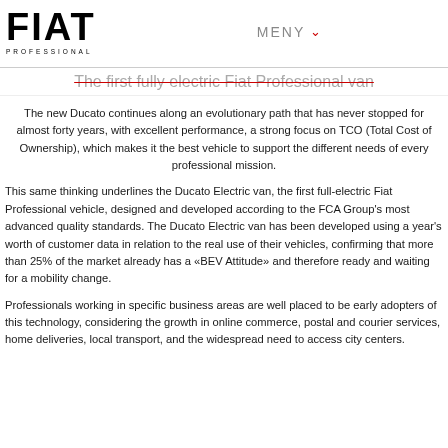FIAT PROFESSIONAL | MENY
The first fully electric Fiat Professional van
The new Ducato continues along an evolutionary path that has never stopped for almost forty years, with excellent performance, a strong focus on TCO (Total Cost of Ownership), which makes it the best vehicle to support the different needs of every professional mission.
This same thinking underlines the Ducato Electric van, the first full-electric Fiat Professional vehicle, designed and developed according to the FCA Group's most advanced quality standards. The Ducato Electric van has been developed using a year's worth of customer data in relation to the real use of their vehicles, confirming that more than 25% of the market already has a «BEV Attitude» and therefore ready and waiting for a mobility change.
Professionals working in specific business areas are well placed to be early adopters of this technology, considering the growth in online commerce, postal and courier services, home deliveries, local transport, and the widespread need to access city centers.